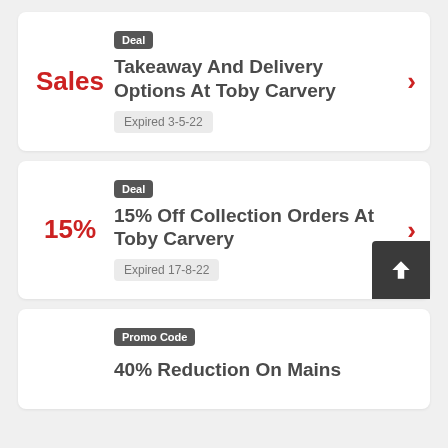Deal — Takeaway And Delivery Options At Toby Carvery — Expired 3-5-22
Deal — 15% Off Collection Orders At Toby Carvery — Expired 17-8-22
Promo Code — 40% Reduction On Mains (partial, cut off)